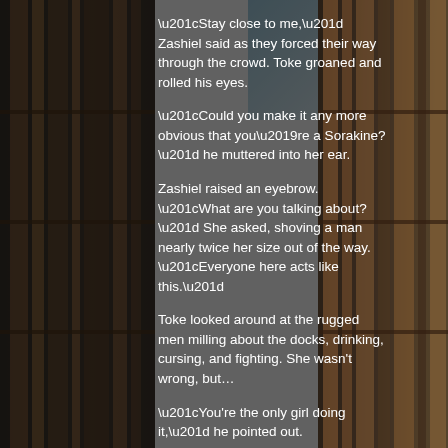[Figure (photo): Background image of a library with bookshelves on left and right sides, and a bright modern ceiling visible on the upper right. A dark semi-transparent overlay covers most of the image.]
“Stay close to me,” Zashiel said as they forced their way through the crowd. Toke groaned and rolled his eyes.
“Could you make it any more obvious that you’re a Sorakine?” he muttered into her ear.
Zashiel raised an eyebrow. “What are you talking about?” She asked, shoving a man nearly twice her size out of the way. “Everyone here acts like this.”
Toke looked around at the rugged men milling about the docks, drinking, cursing, and fighting. She wasn’t wrong, but…
“You’re the only girl doing it,” he pointed out.
Zashiel paused for a second. “You humans are so weird,” she finally muttered, shaking her head.